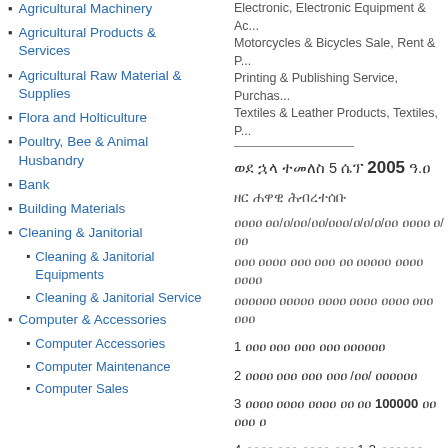Agricultural Machinery
Agricultural Products & Services
Agricultural Raw Material & Supplies
Flora and Holticulture
Poultry, Bee & Animal Husbandry
Bank
Building Materials
Cleaning & Janitorial
Cleaning & Janitorial Equipments
Cleaning & Janitorial Service
Computer & Accessories
Computer Accessories
Computer Maintenance
Computer Sales
Electronic, Electronic Equipment & Ac... Motorcycles & Bicycles Sale, Rent & P... Printing & Publishing Service, Purchas... Textiles & Leather Products, Textiles, P...
ወደ ኋላ ተመለስ 5 ሴፕ 2005 ዓ.ዐ
ዘር ሐዋዊ ሕብረተሰቡ
ዐዐዐዐ ዐዐ/ዐ/ዐዐ/ዐዐ/ዐዐዐ/ዐ/ዐ/ዐ/ዐዐ ዐዐዐዐ ዐ/ዐዐ
ዐዐዐ ዐዐዐዐ ዐዐዐ ዐዐዐ ዐዐ ዐዐዐዐዐ ዐዐዐዐ ዐዐዐዐ
ዐዐዐዐዐዐ ዐዐዐዐዐ ዐዐዐዐ ዐዐዐዐ ዐዐዐዐ ዐዐዐ ዐዐዐ
1 ዐዐዐ ዐዐዐ ዐዐዐ ዐዐዐ ዐዐዐዐዐዐ
2 ዐዐዐዐ ዐዐዐ ዐዐዐ ዐዐዐ /ዐዐ/ ዐዐዐዐዐዐ
3 ዐዐዐዐ ዐዐዐዐ ዐዐዐዐ ዐዐ ዐዐ 100000 ዐዐ ዐዐዐ ዐ
4 ዐዐዐዐ ዐዐዐ ዐዐዐዐ ዐዐዐ 1-3 ዐዐዐዐዐዐ ዐዐዐዐዐ
words, estimated 1:03 mins reading